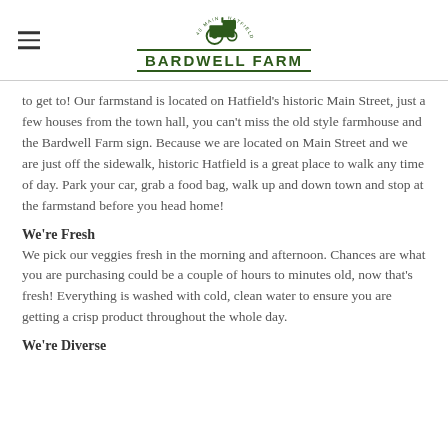BARDWELL FARM
to get to! Our farmstand is located on Hatfield's historic Main Street, just a few houses from the town hall, you can't miss the old style farmhouse and the Bardwell Farm sign. Because we are located on Main Street and we are just off the sidewalk, historic Hatfield is a great place to walk any time of day. Park your car, grab a food bag, walk up and down town and stop at the farmstand before you head home!
We're Fresh
We pick our veggies fresh in the morning and afternoon. Chances are what you are purchasing could be a couple of hours to minutes old, now that's fresh! Everything is washed with cold, clean water to ensure you are getting a crisp product throughout the whole day.
We're Diverse